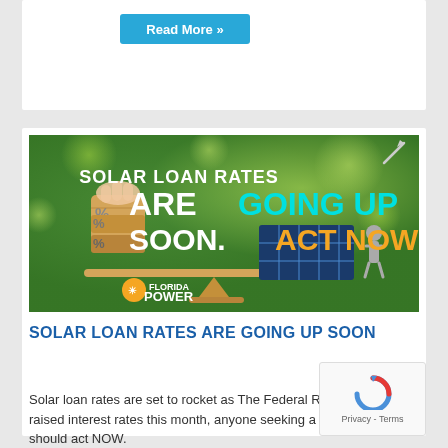Read More »
[Figure (illustration): Solar loan rates promotional banner image from Florida Power showing a balance scale with percent symbols on one side and solar panels on the other, with text: SOLAR LOAN RATES ARE GOING UP SOON. ACT NOW!]
SOLAR LOAN RATES ARE GOING UP SOON
Solar loan rates are set to rocket as The Federal Reserve raised interest rates this month, anyone seeking a solar loan should act NOW.
Read More »